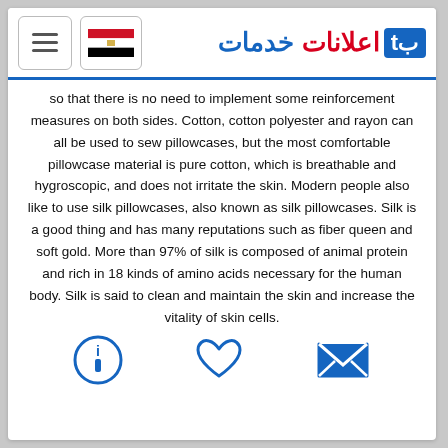تب خدمات اعلانات (logo header with hamburger and Egypt flag)
so that there is no need to implement some reinforcement measures on both sides. Cotton, cotton polyester and rayon can all be used to sew pillowcases, but the most comfortable pillowcase material is pure cotton, which is breathable and hygroscopic, and does not irritate the skin. Modern people also like to use silk pillowcases, also known as silk pillowcases. Silk is a good thing and has many reputations such as fiber queen and soft gold. More than 97% of silk is composed of animal protein and rich in 18 kinds of amino acids necessary for the human body. Silk is said to clean and maintain the skin and increase the vitality of skin cells.
[Figure (infographic): Three icons: info circle (i), heart/like, and envelope/message icons in blue]